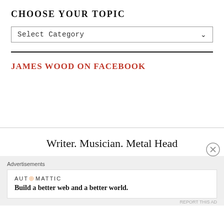CHOOSE YOUR TOPIC
[Figure (screenshot): Dropdown select box with text 'Select Category' and a down arrow chevron]
JAMES WOOD ON FACEBOOK
Writer. Musician. Metal Head
Advertisements
[Figure (logo): Automattic logo with orange letter O]
Build a better web and a better world.
REPORT THIS AD